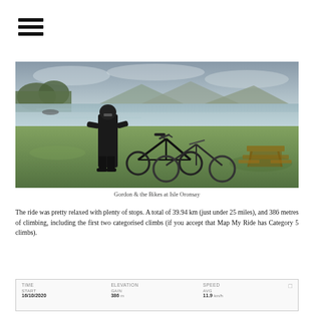[Figure (photo): Gordon standing beside two bicycles on grass at Isle Oronsay, with a loch and hills in the background on an overcast day. A picnic table is visible to the right.]
Gordon & the Bikes at Isle Oronsay
The ride was pretty relaxed with plenty of stops. A total of 39.94 km (just under 25 miles), and 386 metres of climbing, including the first two categorised climbs (if you accept that Map My Ride has Category 5 climbs).
| TIME | ELEVATION | SPEED |
| --- | --- | --- |
| START  16/10/2020 | GAIN  386m | AVG  11.9 km/h |